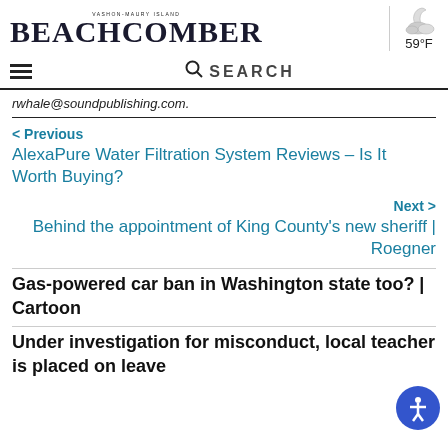Vashon-Maury Island BEACHCOMBER | 59°F
rwhale@soundpublishing.com.
< Previous
AlexaPure Water Filtration System Reviews – Is It Worth Buying?
Next >
Behind the appointment of King County's new sheriff | Roegner
Gas-powered car ban in Washington state too? | Cartoon
Under investigation for misconduct, local teacher is placed on leave